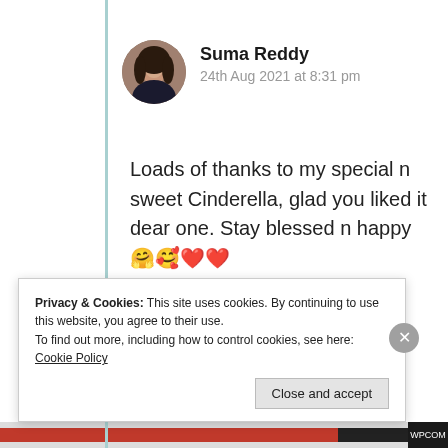[Figure (photo): Circular avatar photo of Suma Reddy, a woman with dark hair]
Suma Reddy
24th Aug 2021 at 8:31 pm
Loads of thanks to my special n sweet Cinderella, glad you liked it dear one. Stay blessed n happy 🤗🥰❤️❤️
★ Liked by 1 person
Log in to Reply
Privacy & Cookies: This site uses cookies. By continuing to use this website, you agree to their use.
To find out more, including how to control cookies, see here: Cookie Policy
Close and accept